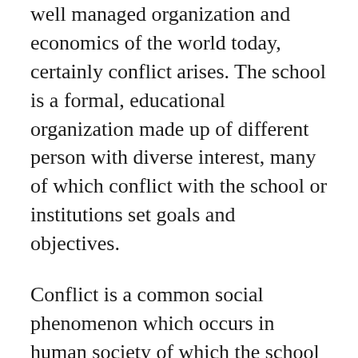well managed organization and economics of the world today, certainly conflict arises. The school is a formal, educational organization made up of different person with diverse interest, many of which conflict with the school or institutions set goals and objectives.
Conflict is a common social phenomenon which occurs in human society of which the school is a part of. In a secondary school system, the principal is the head of the institution. Principal and other managers while performing their duties may find themselves stepping into the shoes of their subjects, which leads to a conflict...